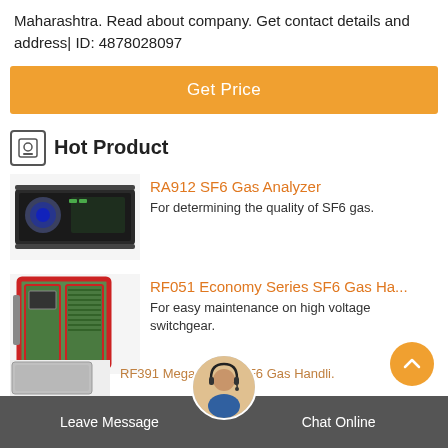Maharashtra. Read about company. Get contact details and address| ID: 4878028097
Get Price
Hot Product
[Figure (photo): RA912 SF6 Gas Analyzer device, a rack-mounted electronic instrument with display and controls]
RA912 SF6 Gas Analyzer
For determining the quality of SF6 gas.
[Figure (photo): RF051 Economy Series SF6 Gas Handling unit, a large green cabinet with red frame on wheels]
RF051 Economy Series SF6 Gas Ha...
For easy maintenance on high voltage switchgear.
[Figure (photo): Small partial view of third product at bottom]
RF391 Mega Series SF6 Gas Handli.
Leave Message   Chat Online